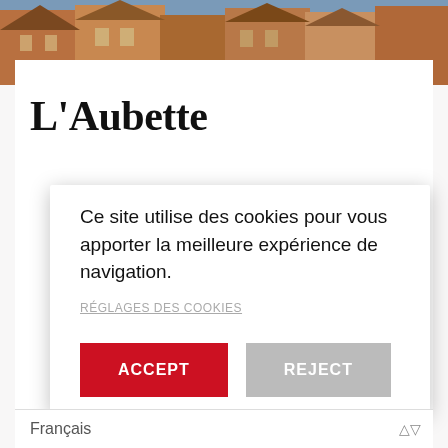[Figure (photo): Background photo of European-style buildings (Alsatian architecture) visible at the top of the page behind a white content area]
L'Aubette
Ce site utilise des cookies pour vous apporter la meilleure expérience de navigation.
RÉGLAGES DES COOKIES
ACCEPT
REJECT
Français